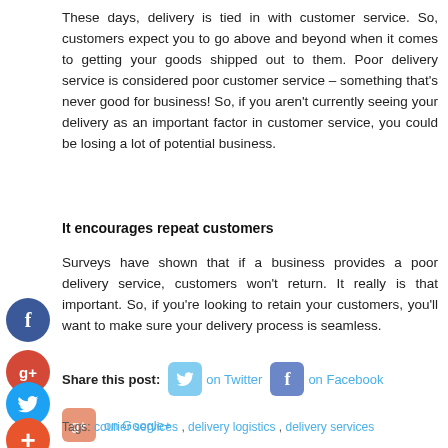These days, delivery is tied in with customer service. So, customers expect you to go above and beyond when it comes to getting your goods shipped out to them. Poor delivery service is considered poor customer service – something that's never good for business! So, if you aren't currently seeing your delivery as an important factor in customer service, you could be losing a lot of potential business.
It encourages repeat customers
Surveys have shown that if a business provides a poor delivery service, customers won't return. It really is that important. So, if you're looking to retain your customers, you'll want to make sure your delivery process is seamless.
Share this post:   on Twitter   on Facebook   on Google+
Tags: courier services , delivery logistics , delivery services